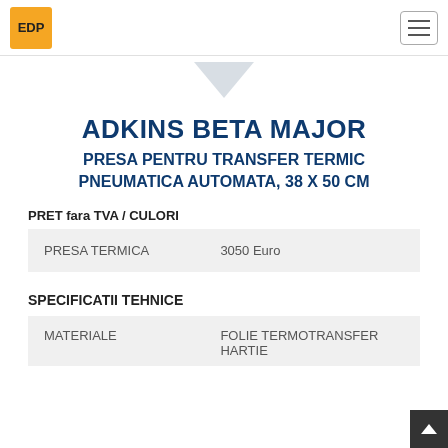EDP logo and hamburger menu
[Figure (illustration): Partial product image (triangle/arrow shape visible at top)]
ADKINS BETA MAJOR
PRESA PENTRU TRANSFER TERMIC PNEUMATICA AUTOMATA, 38 X 50 CM
PRET fara TVA / CULORI
| PRESA TERMICA | 3050 Euro |
SPECIFICATII TEHNICE
| MATERIALE | FOLIE TERMOTRANSFER
HARTIE |